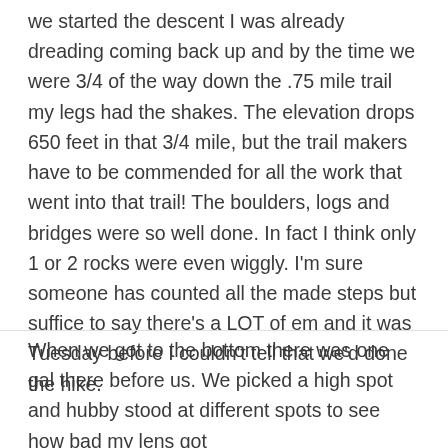we started the descent I was already dreading coming back up and by the time we were 3/4 of the way down the .75 mile trail my legs had the shakes. The elevation drops 650 feet in that 3/4 mile, but the trail makers have to be commended for all the work that went into that trail! The boulders, logs and bridges were so well done. In fact I think only 1 or 2 rocks were even wiggly. I'm sure someone has counted all the made steps but suffice to say there's a LOT of em and it was Tuesday before I couldn't tell that we'd done the hike.
When we got to the bottom there was one gal there before us. We picked a high spot and hubby stood at different spots to see how bad my lens got